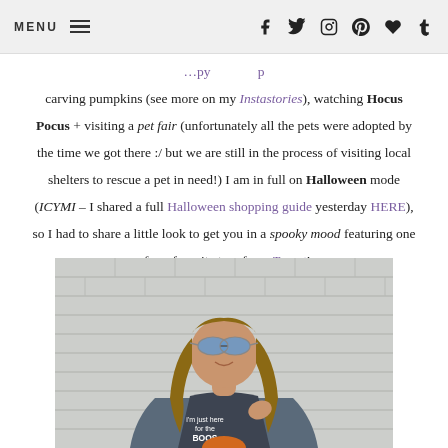MENU [hamburger] [social icons: facebook, twitter, instagram, pinterest, heart, tumblr]
carving pumpkins (see more on my Instastories), watching Hocus Pocus + visiting a pet fair (unfortunately all the pets were adopted by the time we got there :/ but we are still in the process of visiting local shelters to rescue a pet in need!) I am in full on Halloween mode (ICYMI – I shared a full Halloween shopping guide yesterday HERE), so I had to share a little look to get you in a spooky mood featuring one of my favorite tees from Target!
[Figure (photo): Woman wearing sunglasses and a Halloween-themed graphic tee reading 'I'm just here for the BOOS', with long wavy hair, smiling, posing against a white brick wall background]